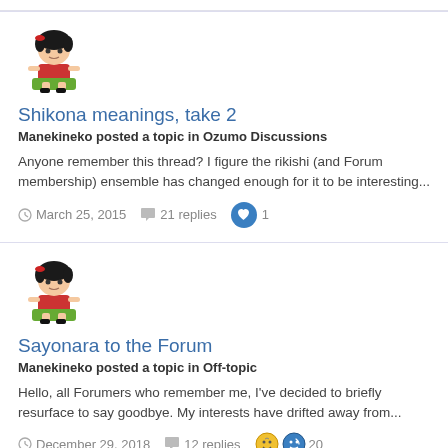[Figure (illustration): Mafalda cartoon character avatar - girl with black hair sitting on green surface]
Shikona meanings, take 2
Manekineko posted a topic in Ozumo Discussions
Anyone remember this thread? I figure the rikishi (and Forum membership) ensemble has changed enough for it to be interesting...
March 25, 2015  21 replies  1
[Figure (illustration): Mafalda cartoon character avatar - girl with black hair sitting on green surface]
Sayonara to the Forum
Manekineko posted a topic in Off-topic
Hello, all Forumers who remember me, I've decided to briefly resurface to say goodbye. My interests have drifted away from...
December 29, 2018  12 replies  20